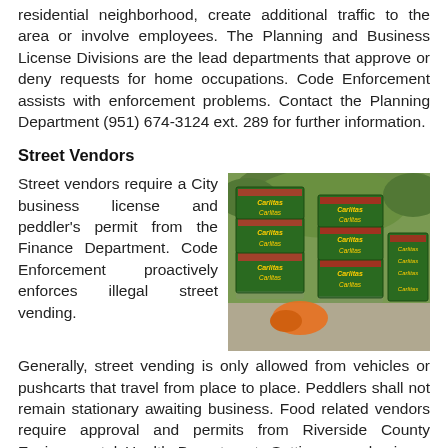residential neighborhood, create additional traffic to the area or involve employees. The Planning and Business License Divisions are the lead departments that approve or deny requests for home occupations. Code Enforcement assists with enforcement problems. Contact the Planning Department (951) 674-3124 ext. 289 for further information.
Street Vendors
[Figure (photo): Photograph of stacked green produce boxes with red fruit (strawberries) visible and other produce items on the ground nearby, set against a background of green bushes.]
Street vendors require a City business license and peddler's permit from the Finance Department. Code Enforcement proactively enforces illegal street vending. Generally, street vending is only allowed from vehicles or pushcarts that travel from place to place. Peddlers shall not remain stationary awaiting business. Food related vendors require approval and permits from Riverside County Environmental Health Department. Setting up a business from a vacant lot or from the public property is strictly prohibited, except in conjunction with special event permit. For business license and peddler permits